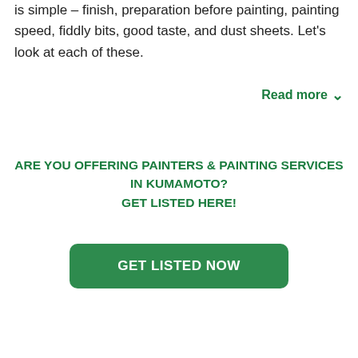is simple – finish, preparation before painting, painting speed, fiddly bits, good taste, and dust sheets. Let's look at each of these.
Read more ∨
ARE YOU OFFERING PAINTERS & PAINTING SERVICES IN KUMAMOTO?
GET LISTED HERE!
[Figure (other): Green button with white bold text reading GET LISTED NOW]